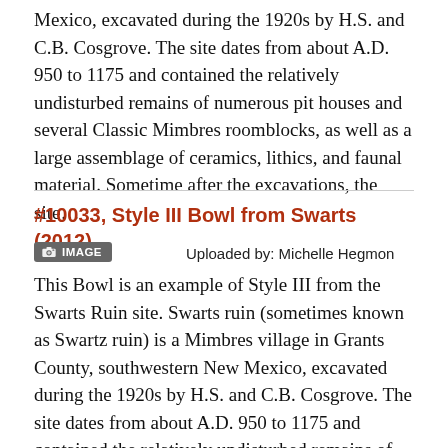Mexico, excavated during the 1920s by H.S. and C.B. Cosgrove. The site dates from about A.D. 950 to 1175 and contained the relatively undisturbed remains of numerous pit houses and several Classic Mimbres roomblocks, as well as a large assemblage of ceramics, lithics, and faunal material. Sometime after the excavations, the site…
#10033, Style III Bowl from Swarts (2012)
[Figure (other): IMAGE badge button with camera icon]
Uploaded by: Michelle Hegmon
This Bowl is an example of Style III from the Swarts Ruin site. Swarts ruin (sometimes known as Swartz ruin) is a Mimbres village in Grants County, southwestern New Mexico, excavated during the 1920s by H.S. and C.B. Cosgrove. The site dates from about A.D. 950 to 1175 and contained the relatively undisturbed remains of numerous pit houses and several Classic Mimbres roomblocks, as well as a large assemblage of ceramics, lithics, and faunal material. Sometime after the excavations, the site…